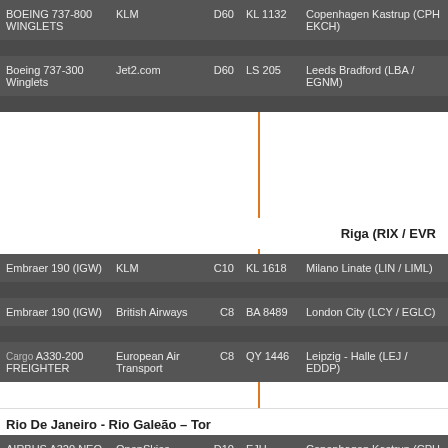| Aircraft | Airline | Gate | Flight | Airport |
| --- | --- | --- | --- | --- |
| BOEING 737-800 WINGLETS | KLM | D60 | KL 1132 | Copenhagen Kastrup (CPH / EKCH) |
| Boeing 737-300 Winglets | Jet2.com | D60 | LS 205 | Leeds Bradford (LBA / EGNM) |
Riga (RIX / EVR...
| Aircraft | Airline | Gate | Flight | Airport |
| --- | --- | --- | --- | --- |
| Embraer 190 (IGW) | KLM | C10 | KL 1618 | Milano Linate (LIN / LIML) |
| Embraer 190 (IGW) | British Airways | C8 | BA 8489 | London City (LCY / EGLC) |
| A330-200 FREIGHTER | European Air Transport | C8 | QY 1446 | Leipzig - Halle (LEJ / EDDP) |
Rio De Janeiro - Rio Galeão – Tor...
| Aircraft | Airline | Gate | Flight | Airport |
| --- | --- | --- | --- | --- |
| AIRBUS A320 NEO | OpenSkies | D10 | EJU 7922 | Copenhagen Kastrup (CPH... |